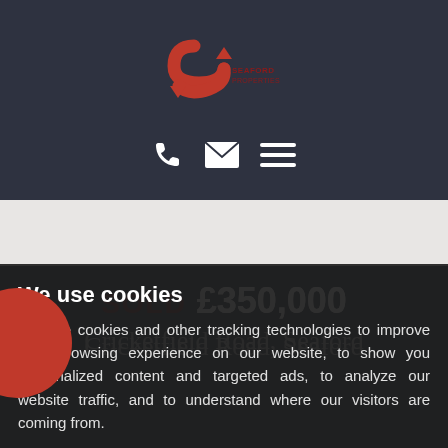[Figure (logo): Seaford Properties logo: red stylized S with arrows forming a circular shape, with text 'SEAFORD PROPERTIES' to the right]
[Figure (infographic): Three white icons: phone handset, envelope/email, and hamburger menu lines]
SOLD £350,000
Cricketfield Road, Seaford
We use cookies
We use cookies and other tracking technologies to improve your browsing experience on our website, to show you personalized content and targeted ads, to analyze our website traffic, and to understand where our visitors are coming from.